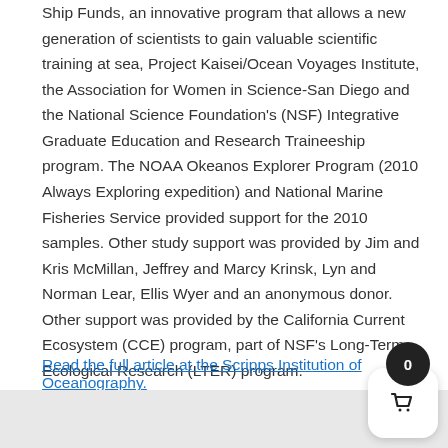Ship Funds, an innovative program that allows a new generation of scientists to gain valuable scientific training at sea, Project Kaisei/Ocean Voyages Institute, the Association for Women in Science-San Diego and the National Science Foundation's (NSF) Integrative Graduate Education and Research Traineeship program. The NOAA Okeanos Explorer Program (2010 Always Exploring expedition) and National Marine Fisheries Service provided support for the 2010 samples. Other study support was provided by Jim and Kris McMillan, Jeffrey and Marcy Krinsk, Lyn and Norman Lear, Ellis Wyer and an anonymous donor. Other support was provided by the California Current Ecosystem (CCE) program, part of NSF's Long-Term Ecological Research (LTER) program.
Read the full article at the Scripps Institution of Oceanography.